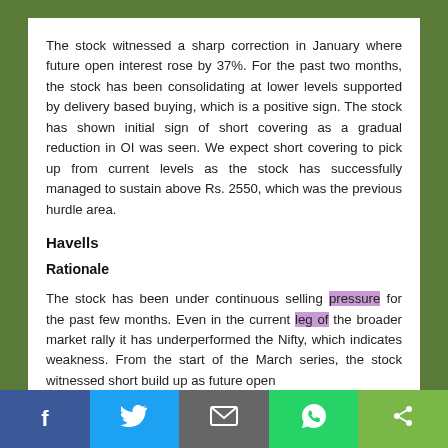The stock witnessed a sharp correction in January where future open interest rose by 37%. For the past two months, the stock has been consolidating at lower levels supported by delivery based buying, which is a positive sign. The stock has shown initial sign of short covering as a gradual reduction in OI was seen. We expect short covering to pick up from current levels as the stock has successfully managed to sustain above Rs. 2550, which was the previous hurdle area.
Havells
Rationale
The stock has been under continuous selling pressure for the past few months. Even in the current leg of the broader market rally it has underperformed the Nifty, which indicates weakness. From the start of the March series, the stock witnessed short build up as future open
Social share bar: Facebook, Twitter, Email, WhatsApp, Share